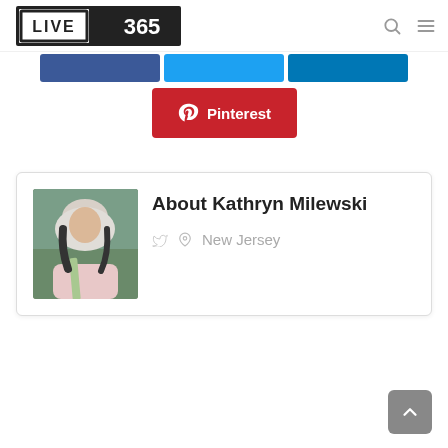[Figure (logo): Live365 logo — black and white brand logo with LIVE in outlined box and 365 in filled black box]
[Figure (infographic): Social share buttons row: Facebook (blue), Twitter (light blue), LinkedIn (dark blue)]
[Figure (infographic): Pinterest share button in red with Pinterest icon]
[Figure (infographic): Author card with photo of Kathryn Milewski, title 'About Kathryn Milewski', Twitter icon, location pin icon, and text 'New Jersey']
[Figure (other): Scroll-to-top button, gray rounded rectangle with upward chevron]